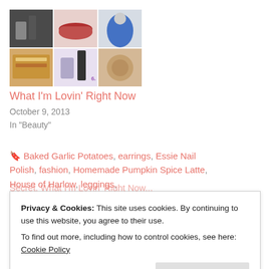[Figure (photo): Collage of beauty/fashion images: black and white objects, red lips, blue ruffled dress, food (toast/sandwich), lavender nail polish, and a cosmetic product. A purple number '6.' is visible in one cell.]
What I'm Lovin' Right Now
October 9, 2013
In "Beauty"
Baked Garlic Potatoes, earrings, Essie Nail Polish, fashion, Homemade Pumpkin Spice Latte, House of Harlow, leggings, Monday Blues, Mondays, Tunic, Victoria's Secret, What I'm Lovin' Right Now
Privacy & Cookies: This site uses cookies. By continuing to use this website, you agree to their use.
To find out more, including how to control cookies, see here: Cookie Policy
Close and accept